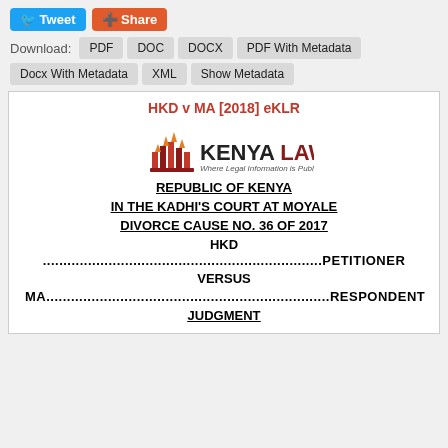[Figure (screenshot): Tweet and Share buttons at the top of the page]
[Figure (screenshot): Download bar with PDF, DOC, DOCX, PDF With Metadata, Docx With Metadata, XML, Show Metadata buttons]
HKD v MA [2018] eKLR
[Figure (logo): Kenya Law logo with tagline: Where Legal Information is Public Knowledge]
REPUBLIC OF KENYA
IN THE KADHI'S COURT AT MOYALE
DIVORCE CAUSE NO. 36 OF 2017
HKD
....................................................................PETITIONER
VERSUS
MA.....................................................................RESPONDENT
JUDGMENT